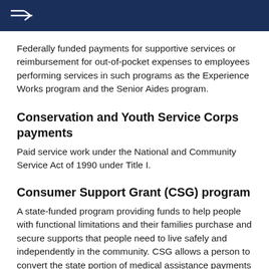→
Federally funded payments for supportive services or reimbursement for out-of-pocket expenses to employees performing services in such programs as the Experience Works program and the Senior Aides program.
Conservation and Youth Service Corps payments
Paid service work under the National and Community Service Act of 1990 under Title I.
Consumer Support Grant (CSG) program
A state-funded program providing funds to help people with functional limitations and their families purchase and secure supports that people need to live safely and independently in the community. CSG allows a person to convert the state portion of medical assistance payments for specific home care services into a cash grant. Eligible participants receive monthly cash grants to replace fee-for-service home care services payments.